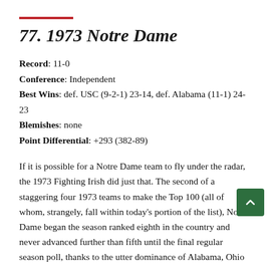77. 1973 Notre Dame
Record: 11-0
Conference: Independent
Best Wins: def. USC (9-2-1) 23-14, def. Alabama (11-1) 24-23
Blemishes: none
Point Differential: +293 (382-89)
If it is possible for a Notre Dame team to fly under the radar, the 1973 Fighting Irish did just that. The second of a staggering four 1973 teams to make the Top 100 (all of whom, strangely, fall within today's portion of the list), Notre Dame began the season ranked eighth in the country and never advanced further than fifth until the final regular season poll, thanks to the utter dominance of Alabama, Ohio State, Michigan and Oklahoma. When they got